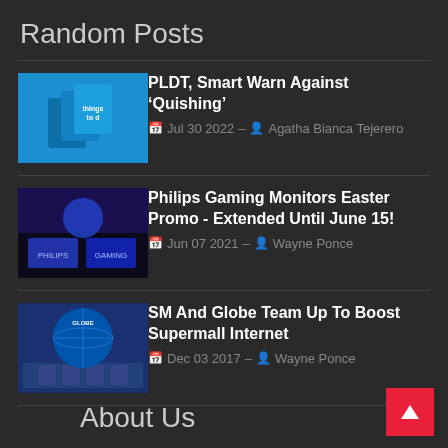Random Posts
PLDT, Smart Warn Against ‘Quishing’ | Jul 30 2022 | Agatha Bianca Tejerero
Philips Gaming Monitors Easter Promo - Extended Until June 15! | Jun 07 2021 | Wayne Ponce
SM And Globe Team Up To Boost Supermall Internet | Dec 03 2017 | Wayne Ponce
About Us